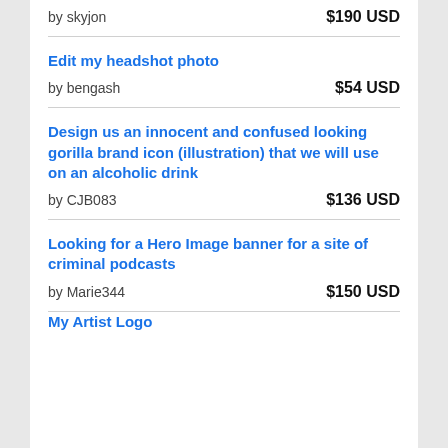by skyjon — $190 USD
Edit my headshot photo
by bengash — $54 USD
Design us an innocent and confused looking gorilla brand icon (illustration) that we will use on an alcoholic drink
by CJB083 — $136 USD
Looking for a Hero Image banner for a site of criminal podcasts
by Marie344 — $150 USD
My Artist Logo